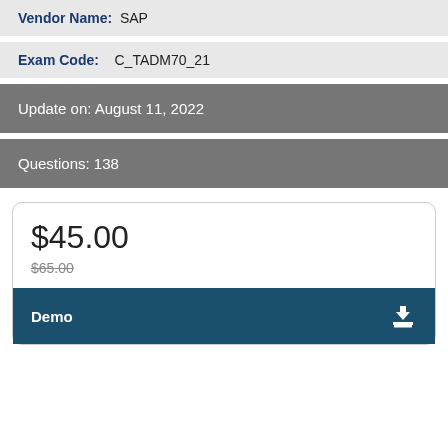Vendor Name: SAP
Exam Code: C_TADM70_21
Update on: August 11, 2022
Questions: 138
$45.00
$65.00
Demo